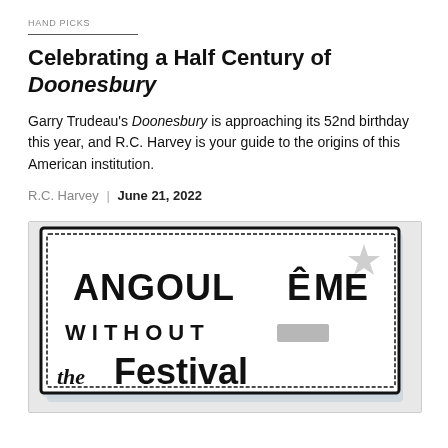HAND PICKS
Celebrating a Half Century of Doonesbury
Garry Trudeau's Doonesbury is approaching its 52nd birthday this year, and R.C. Harvey is your guide to the origins of this American institution.
R.C. Harvey | June 21, 2022
[Figure (illustration): Hand-drawn sketch illustration showing the text 'ANGOULÊME WITHOUT the Festival' in bold black lettering with a star, inside a rough sketched border frame with blue-grey shading.]